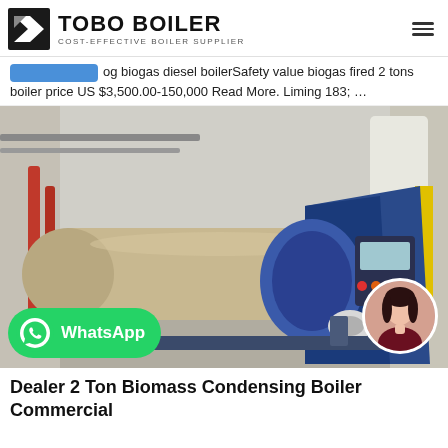TOBO BOILER — COST-EFFECTIVE BOILER SUPPLIER
og biogas diesel boilerSafety value biogas fired 2 tons boiler price US $3,500.00-150,000 Read More. Liming 183; …
[Figure (photo): Industrial horizontal fire-tube boiler in a factory setting, tan-colored cylindrical body with blue front burner assembly and control panel, red piping visible on left, mounted on metal base frame]
WhatsApp
Dealer 2 Ton Biomass Condensing Boiler Commercial